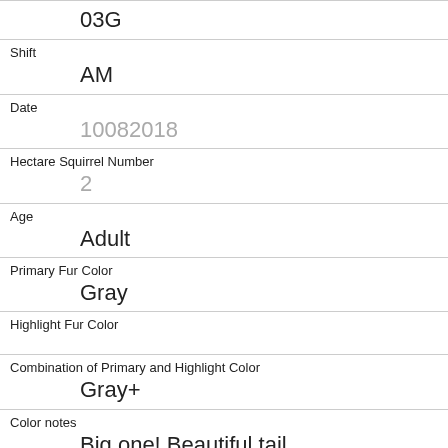03G
Shift
AM
Date
10082018
Hectare Squirrel Number
2
Age
Adult
Primary Fur Color
Gray
Highlight Fur Color
Combination of Primary and Highlight Color
Gray+
Color notes
Big one! Beautiful tail
Location
Ground Plane
Above Ground Sighter Measurement